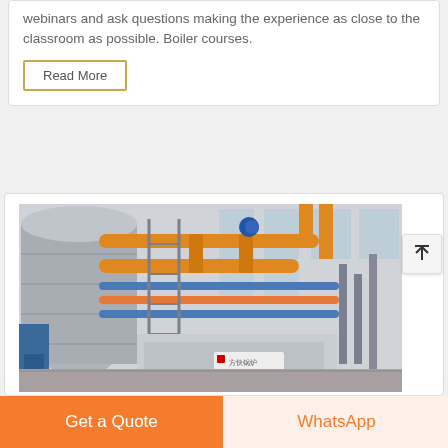webinars and ask questions making the experience as close to the classroom as possible. Boiler courses.
Read More
[Figure (photo): Industrial boiler facility interior showing large cylindrical boiler equipment with extensive orange and blue pipe networks, metal scaffolding, and a manufacturer label on the unit, set in a factory hall with natural light from windows.]
Get a Quote
WhatsApp